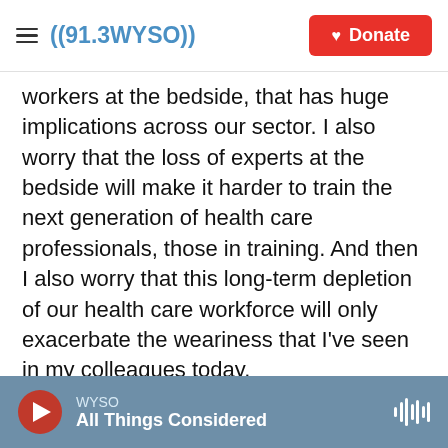≡ ((91.3WYSO)) | Donate
workers at the bedside, that has huge implications across our sector. I also worry that the loss of experts at the bedside will make it harder to train the next generation of health care professionals, those in training. And then I also worry that this long-term depletion of our health care workforce will only exacerbate the weariness that I've seen in my colleagues today.
CORNISH: And I can't imagine it helps when it comes to recruitment and drawing new people in.
FRIESE: I think that's something we'll need to
WYSO | All Things Considered